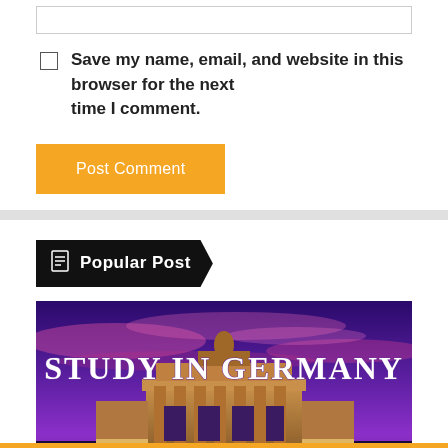[input box]
Save my name, email, and website in this browser for the next time I comment.
Post Comment
Popular Post
[Figure (photo): Study in Germany banner showing the Brandenburg Gate at dusk with a purple/violet sky and the text 'STUDY IN GERMANY' in bold white serif letters]